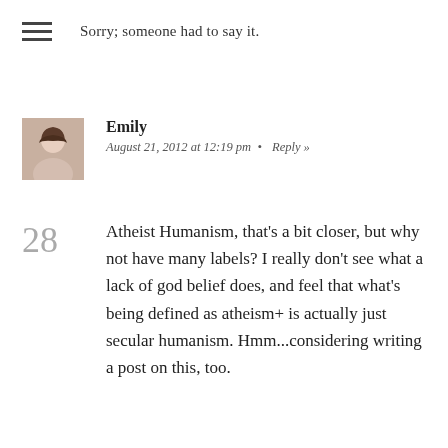Sorry; someone had to say it.
Emily
August 21, 2012 at 12:19 pm  •  Reply »
28  Atheist Humanism, that's a bit closer, but why not have many labels? I really don't see what a lack of god belief does, and feel that what's being defined as atheism+ is actually just secular humanism. Hmm...considering writing a post on this, too.